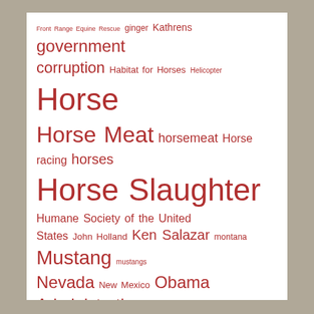[Figure (infographic): Tag cloud about wild horses, mustangs, horse slaughter and related topics. Words are displayed in varying font sizes in dark red/crimson color on a white background, with a gray/beige border background. Larger words indicate higher frequency/importance. Tags include: Front Range Equine Rescue, ginger, Kathrens, government, corruption, Habitat for Horses, Helicopter, Horse, Horse Meat, horsemeat, Horse racing, horses, Horse Slaughter, Humane Society of the United States, John Holland, Ken Salazar, montana, Mustang, mustangs, Nevada, New Mexico, Obama Administration, pryor mountains, Public land, Public Lands, R.T. Fitch, roundup, Ryan Zinke, stampede, Steven Long, Sue Wallis, Terry Fitch, Texas, The Cloud Foundation, United States, United States Department of Agriculture, USDA, Utah, welfare, ranching, wild burro, wild burros, wildhorse, Wild Horse, Wild Horse & Burro Radio, Wild Horse Freedom Federation, Wild Horses, Wild Horses & Burros, Wild Mustang, Wyoming]